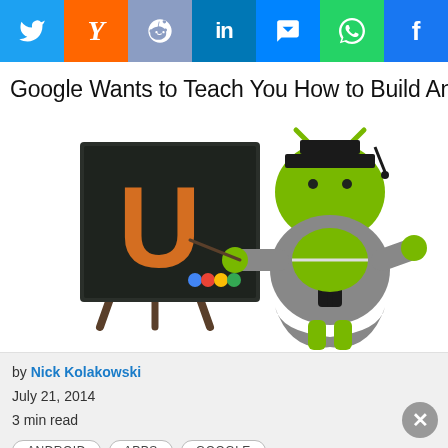[Figure (infographic): Social sharing bar with icons: Twitter (blue), Yahoo (orange), Reddit (steel blue), LinkedIn (blue), Messenger (blue), WhatsApp (green), Facebook (blue)]
Google Wants to Teach You How to Build And
[Figure (illustration): Android mascot dressed as a professor with graduation cap and grey robe, holding a pointer stick pointing at a blackboard showing the Udacity 'U' logo in orange with Google logo]
by Nick Kolakowski
July 21, 2014
3 min read
ANDROID   APPS   GOOGLE